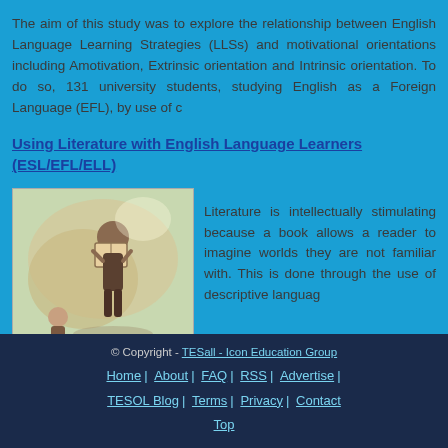The aim of this study was to explore the relationship between English Language Learning Strategies (LLSs) and motivational orientations including Amotivation, Extrinsic orientation and Intrinsic orientation. To do so, 131 university students, studying English as a Foreign Language (EFL), by use of c
Using Literature with English Language Learners (ESL/EFL/ELL)
[Figure (illustration): Painting-style illustration showing a person reading a book, with another figure below, against a light background with soft shapes.]
Literature is intellectually stimulating because a book allows a reader to imagine worlds they are not familiar with. This is done through the use of descriptive languag
© Copyright - TESall - Icon Education Group | Home | About | FAQ | RSS | Advertise | TESOL Blog | Terms | Privacy | Contact | Top